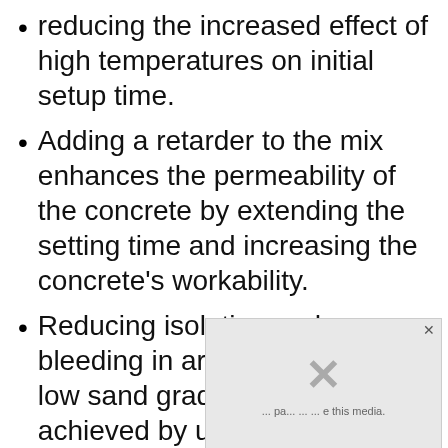reducing the increased effect of high temperatures on initial setup time.
Adding a retarder to the mix enhances the permeability of the concrete by extending the setting time and increasing the concrete’s workability.
Reducing isolation and bleeding in areas where the low sand grade is inevitable is achieved by using concrete retarder.
What are the disadvantages of retarders in concrete?
[Figure (other): Media placeholder with an X icon indicating unsupported or unavailable media content, with text referencing 'this media']